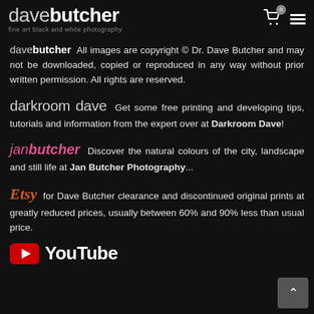dave butcher fine art black and white photography
davebutcher All images are copyright © Dr. Dave Butcher and may not be downloaded, copied or reproduced in any way without prior written permission. All rights are reserved.
darkroom dave Get some free printing and developing tips, tutorials and information from the expert over at Darkroom Dave!
janbutcher Discover the natural colours of the city, landscape and still life at Jan Butcher Photography...
Etsy for Dave Butcher clearance and discontinued original prints at greatly reduced prices, usually between 60% and 90% less than usual price.
[Figure (logo): YouTube logo with red play button icon and white YouTube text]